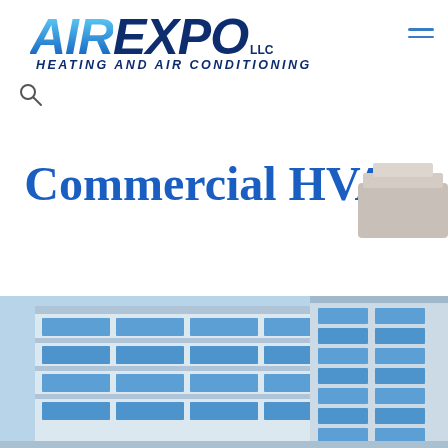[Figure (logo): AirExpo LLC Heating and Air Conditioning logo with blue gradient AIR text and dark navy EXPO LLC text, italic bold style, with tagline HEATING AND AIR CONDITIONING below]
Commercial HVAC
[Figure (photo): Commercial office building with blue glass windows facade against blue sky, partially visible at bottom of page]